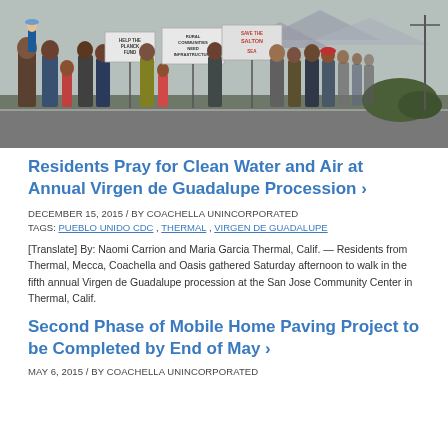[Figure (photo): Group of community residents marching and holding protest signs including 'Save the Salton Sea', 'Rural Communities Need Infrastructure', and 'Help the Planck Fund' during the Virgen de Guadalupe Procession in Thermal, California.]
Residents Pray for Clean Water and Air at Annual Virgen de Guadalupe Procession ›
DECEMBER 15, 2015 / BY COACHELLA UNINCORPORATED
TAGS: PUEBLO UNIDO CDC , THERMAL , VIRGEN DE GUADALUPE
[Translate] By: Naomi Carrion and Maria Garcia Thermal, Calif. — Residents from Thermal, Mecca, Coachella and Oasis gathered Saturday afternoon to walk in the fifth annual Virgen de Guadalupe procession at the San Jose Community Center in Thermal, Calif.
Second Phase of Mobile Home Paving Project to be Completed by End of May ›
MAY 6, 2015 / BY COACHELLA UNINCORPORATED